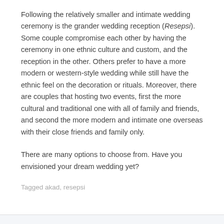Following the relatively smaller and intimate wedding ceremony is the grander wedding reception (Resepsi). Some couple compromise each other by having the ceremony in one ethnic culture and custom, and the reception in the other. Others prefer to have a more modern or western-style wedding while still have the ethnic feel on the decoration or rituals. Moreover, there are couples that hosting two events, first the more cultural and traditional one with all of family and friends, and second the more modern and intimate one overseas with their close friends and family only.
There are many options to choose from. Have you envisioned your dream wedding yet?
Tagged akad, resepsi